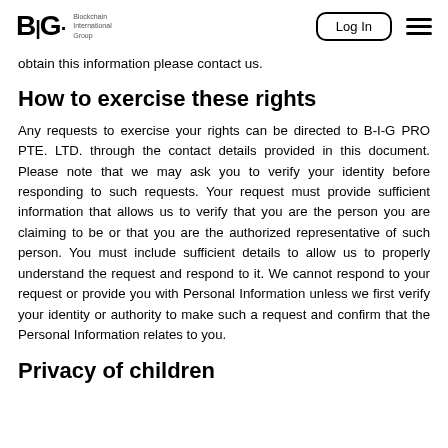B·I·G Blockchain International Group | Log In | Menu
obtain this information please contact us.
How to exercise these rights
Any requests to exercise your rights can be directed to B-I-G PRO PTE. LTD. through the contact details provided in this document. Please note that we may ask you to verify your identity before responding to such requests. Your request must provide sufficient information that allows us to verify that you are the person you are claiming to be or that you are the authorized representative of such person. You must include sufficient details to allow us to properly understand the request and respond to it. We cannot respond to your request or provide you with Personal Information unless we first verify your identity or authority to make such a request and confirm that the Personal Information relates to you.
Privacy of children